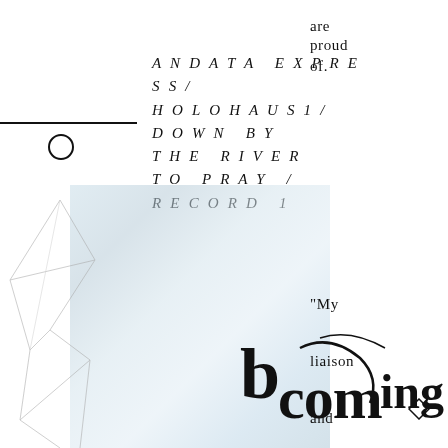ANDATA EXPRESS / HOLOHAUS1 / DOWN BY THE RIVER TO PRAY / RECORD 1
are proud of.
“My liaison and lieutenant will, over the coming
[Figure (illustration): Geometric line art with triangular shapes on left side, faint background photo of person/figure in pale blue tones, decorative calligraphic/typographic overlay at bottom right]
[Figure (illustration): Small diamond shape at bottom right corner]